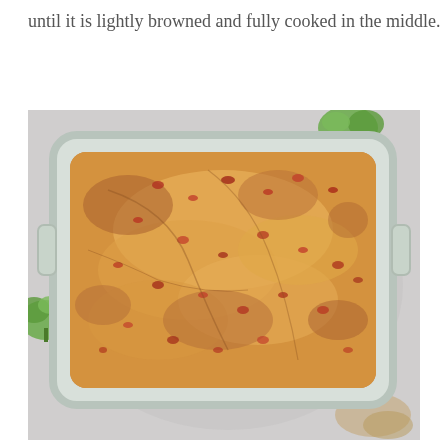until it is lightly browned and fully cooked in the middle.
[Figure (photo): Overhead photo of a rectangular white ceramic baking dish containing a golden-brown baked casserole with visible red bits (likely bacon or ham) scattered throughout, sitting on a light gray surface with small broccoli florets nearby and some spilled seasoning in the corner.]